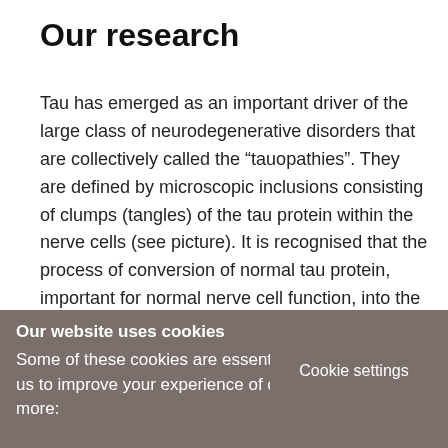Our research
Tau has emerged as an important driver of the large class of neurodegenerative disorders that are collectively called the “tauopathies”. They are defined by microscopic inclusions consisting of clumps (tangles) of the tau protein within the nerve cells (see picture). It is recognised that the process of conversion of normal tau protein, important for normal nerve cell function, into the tangle, could be a crucial driver of progression of the tauopathies. It is therefore plausible that future therapies that target tau would be effective in more than one of these devastating disorders.
Cookie settings
Our website uses cookies
Some of these cookies are essential, while others help us to improve your experience of our website. Find out more: